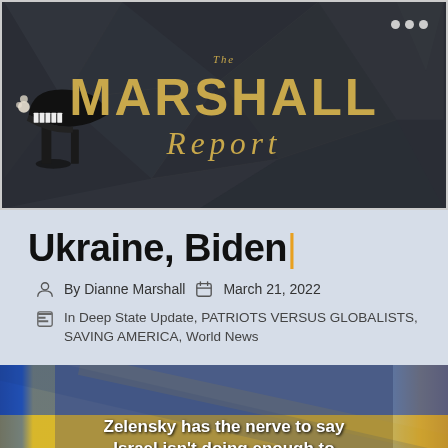[Figure (logo): The Marshall Report website banner/logo with dark geometric background, piano image on left, gold text logo in center reading 'The MARSHALL Report', three dots menu icon top right]
Ukraine, Biden|
By Dianne Marshall   March 21, 2022
In Deep State Update, PATRIOTS VERSUS GLOBALISTS, SAVING AMERICA, World News
[Figure (photo): Photo with Ukrainian flags visible, caption overlay reading: Zelensky has the nerve to say Israel isn't doing enough to]